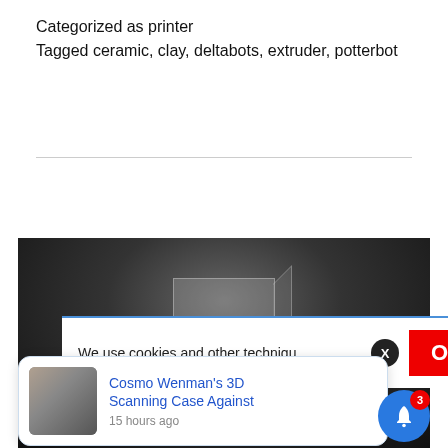Categorized as printer
Tagged ceramic, clay, deltabots, extruder, potterbot
[Figure (photo): Dark background photo showing a translucent/glass box-like object on a dark surface]
We use cookies and other techniqu…
Cosmo Wenman's 3D Scanning Case Against
15 hours ago